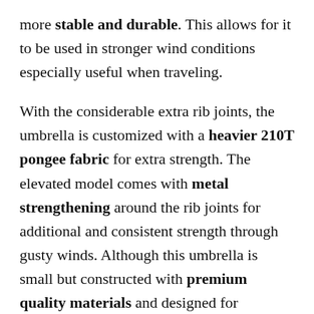more stable and durable. This allows for it to be used in stronger wind conditions especially useful when traveling.
With the considerable extra rib joints, the umbrella is customized with a heavier 210T pongee fabric for extra strength. The elevated model comes with metal strengthening around the rib joints for additional and consistent strength through gusty winds. Although this umbrella is small but constructed with premium quality materials and designed for extensive use for the golf course.
Since this is designed to be a compact umbrella, this can be fit into side pockets of golf bag easily. Also, this is built with a loop at the end of handle it can be